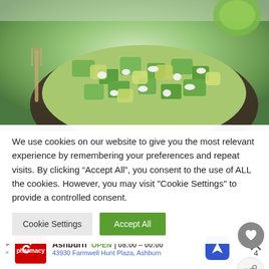[Figure (photo): Close-up photo of a chopped cucumber and avocado salad in a dark bowl, with a wooden fork visible on the left side]
We use cookies on our website to give you the most relevant experience by remembering your preferences and repeat visits. By clicking “Accept All”, you consent to the use of ALL the cookies. However, you may visit "Cookie Settings" to provide a controlled consent.
Cookie Settings   Accept All
Chopped Cucumber and Avocado Salad: it’s all about the balance between creamy and crunchy with this salad.
[Figure (other): CVS Pharmacy advertisement banner showing Ashburn store OPEN 08:00-00:00 at 43930 Farmwell Hunt Plaza, Ashburn]